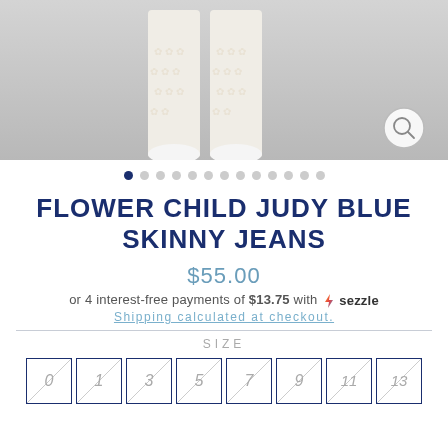[Figure (photo): Product photo showing white lace/floral skinny jeans cropped at legs with white shoes on a gray background. A zoom magnifier icon is in the bottom right.]
• • • • • • • • • • • • • (dot navigation indicators)
FLOWER CHILD JUDY BLUE SKINNY JEANS
$55.00
or 4 interest-free payments of $13.75 with 🔥 sezzle
Shipping calculated at checkout.
SIZE
0  1  3  5  7  9  11  13 (size selector boxes, all crossed out/unavailable)